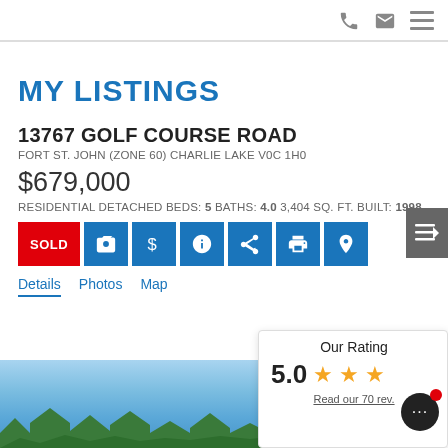phone email menu icons
MY LISTINGS
13767 GOLF COURSE ROAD
FORT ST. JOHN (ZONE 60) CHARLIE LAKE V0C 1H0
$679,000
RESIDENTIAL DETACHED BEDS: 5 BATHS: 4.0 3,404 SQ. FT. BUILT: 1998
SOLD | camera | dollar | info | share | print | location buttons
Details Photos Map
[Figure (photo): Exterior photo of property showing blue sky and trees]
Our Rating 5.0 ★★★ Read our 70 rev.